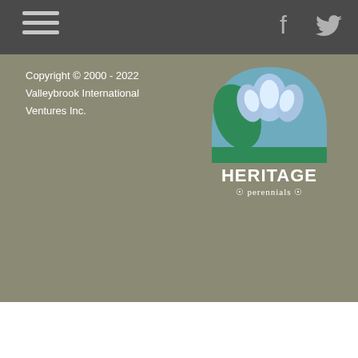Navigation bar with hamburger menu and social icons (Facebook, Twitter)
Copyright © 2000 - 2022 Valleybrook International Ventures Inc.
[Figure (logo): Heritage Perennials logo with tulip/flower design in blue, green and white, with text 'HERITAGE perennials']